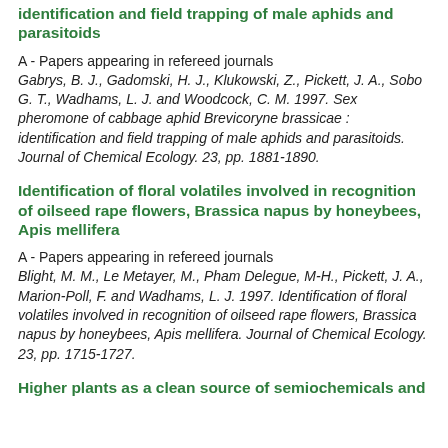identification and field trapping of male aphids and parasitoids
A - Papers appearing in refereed journals
Gabrys, B. J., Gadomski, H. J., Klukowski, Z., Pickett, J. A., Sobo G. T., Wadhams, L. J. and Woodcock, C. M. 1997. Sex pheromone of cabbage aphid Brevicoryne brassicae : identification and field trapping of male aphids and parasitoids. Journal of Chemical Ecology. 23, pp. 1881-1890.
Identification of floral volatiles involved in recognition of oilseed rape flowers, Brassica napus by honeybees, Apis mellifera
A - Papers appearing in refereed journals
Blight, M. M., Le Metayer, M., Pham Delegue, M-H., Pickett, J. A., Marion-Poll, F. and Wadhams, L. J. 1997. Identification of floral volatiles involved in recognition of oilseed rape flowers, Brassica napus by honeybees, Apis mellifera. Journal of Chemical Ecology. 23, pp. 1715-1727.
Higher plants as a clean source of semiochemicals and